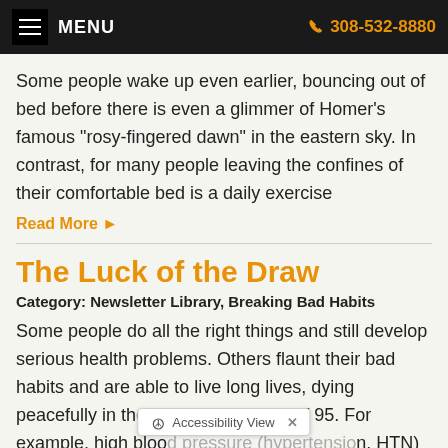MENU  308-532-8880
Some people wake up even earlier, bouncing out of bed before there is even a glimmer of Homer's famous "rosy-fingered dawn" in the eastern sky. In contrast, for many people leaving the confines of their comfortable bed is a daily exercise
Read More ▶
The Luck of the Draw
Category: Newsletter Library, Breaking Bad Habits
Some people do all the right things and still develop serious health problems. Others flaunt their bad habits and are able to live long lives, dying peacefully in their sleep at the age of 95. For example, high blood pressure (hypertension, HTN) is a common chronic disease in the United States with